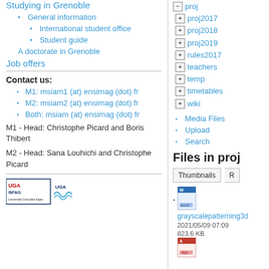Studying in Grenoble
General information
International student office
Student guide
A doctorate in Grenoble
Job offers
Contact us:
M1: msiam1 (at) ensimag (dot) fr
M2: msiam2 (at) ensimag (dot) fr
Both: msiam (at) ensimag (dot) fr
M1 - Head: Christophe Picard and Boris Thibert
M2 - Head: Sana Louhichi and Christophe Picard
[Figure (logo): UGA IM2AG and Grenoble logos]
proj
proj2017
proj2018
proj2019
rules2017
teachers
temp
timetables
wiki
Media Files
Upload
Search
Files in proj
Thumbnails  R...
[Figure (screenshot): DOCX file icon for grayscalepatterning3d]
grayscalepatterning3d
2021/05/09 07:09
823.6 KB
[Figure (screenshot): PDF file icon]